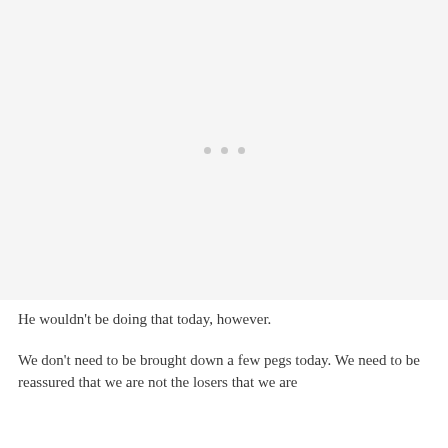[Figure (other): Large light gray placeholder image area with three small gray dots centered in the middle, indicating a loading or blank image state.]
He wouldn't be doing that today, however.
We don't need to be brought down a few pegs today. We need to be reassured that we are not the losers that we are